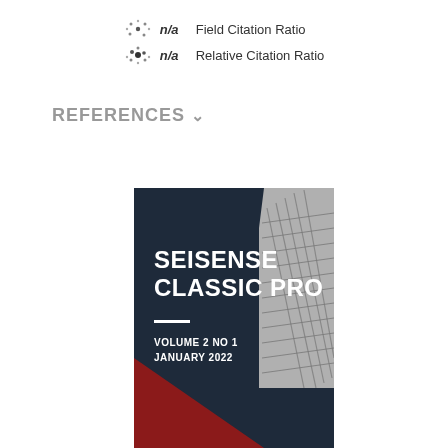[Figure (infographic): Field Citation Ratio and Relative Citation Ratio icons with n/a values]
REFERENCES ˅
[Figure (illustration): Journal cover for Seisense Classic Pro, Volume 2 No 1, January 2022, with dark navy background, red and grey triangle accents, and a black-and-white building photograph]